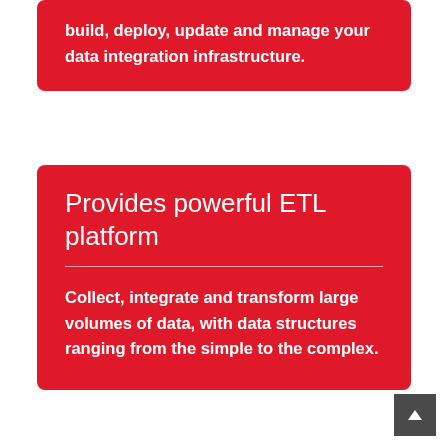build, deploy, update and manage your data integration infrastructure.
Provides powerful ETL platform
Collect, integrate and transform large volumes of data, with data structures ranging from the simple to the complex.